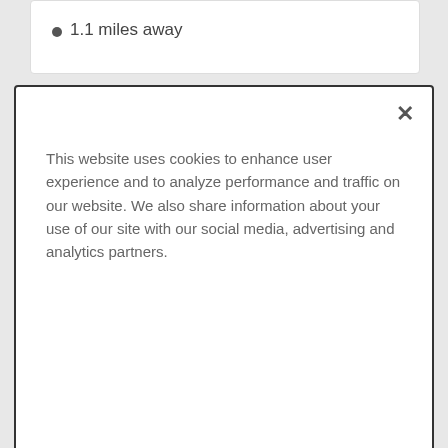1.1 miles away
This website uses cookies to enhance user experience and to analyze performance and traffic on our website. We also share information about your use of our site with our social media, advertising and analytics partners.
Accept Cookies
1.1 miles away
Dr. Matthew Murray, MD
Age 62 • Pediatric Emergency
ADVERTISEMENT